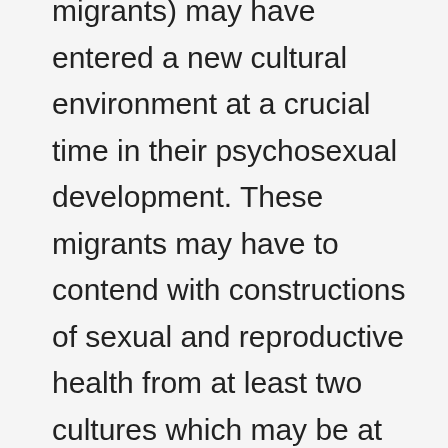migrants) may have entered a new cultural environment at a crucial time in their psychosexual development. These migrants may have to contend with constructions of sexual and reproductive health from at least two cultures which may be at conflict on the matter. This study was designed to investigate the role of culture in constructions of sexual and reproductive health and health care seeking behaviour from the perspective of 1.5 generation migrants. Methods: Forty-two adults from various ethno-cultural backgrounds took part in this Q methodological study. Online, participants rank-ordered forty-two statements about constructions of sexual and